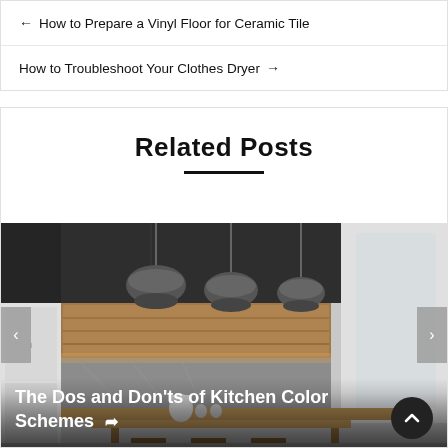← How to Prepare a Vinyl Floor for Ceramic Tile
How to Troubleshoot Your Clothes Dryer →
Related Posts
[Figure (photo): Modern kitchen interior with dark cabinetry, wood accents, and three industrial pendant lights hanging above a wooden dining table with bar stools]
The Dos and Don'ts of Kitchen Color Schemes →